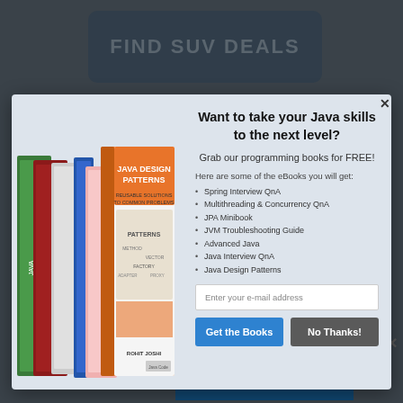[Figure (screenshot): Background webpage showing 'FIND SUV DEALS' button at top with dark blue-gray rounded rectangle styling]
[Figure (screenshot): Modal popup dialog with Java programming books image on left and email signup form on right. Title: 'Want to take your Java skills to the next level?'. Subtitle: 'Grab our programming books for FREE!'. List of eBooks: Spring Interview QnA, Multithreading & Concurrency QnA, JPA Minibook, JVM Troubleshooting Guide, Advanced Java, Java Interview QnA, Java Design Patterns. Email input field and two buttons: 'Get the Books' (blue) and 'No Thanks!' (gray).]
related sites around. Constantly being on the
ADVERTISEMENT